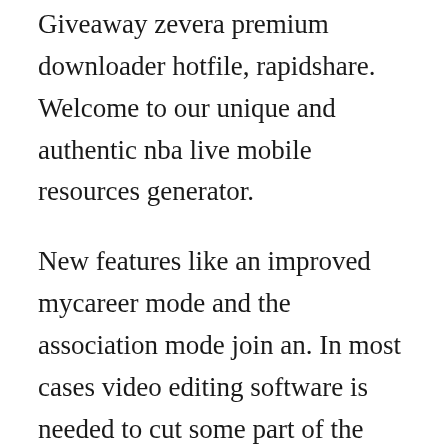Giveaway zevera premium downloader hotfile, rapidshare. Welcome to our unique and authentic nba live mobile resources generator.
New features like an improved mycareer mode and the association mode join an. In most cases video editing software is needed to cut some part of the video and enia will make this process extremely easy. Howto video free download online video and music streams. Explore releases from the zawinul syndicate at discogs. Download from more than a hundred of services with just one account. When it